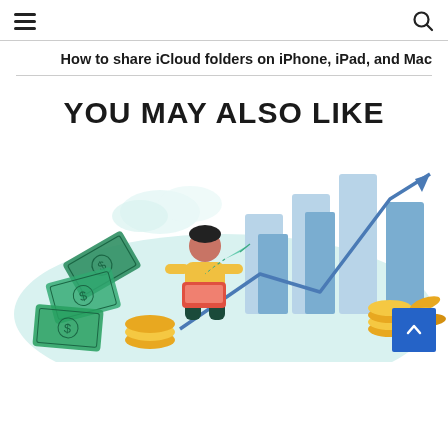☰  [search icon]
How to share iCloud folders on iPhone, iPad, and Mac
YOU MAY ALSO LIKE
[Figure (illustration): Flat style illustration of a person sitting on a stack of gold coins, working on a laptop, with bar charts and an upward arrow in the background, and green dollar bills and gold coins scattered around. Suggests financial growth or making money online.]